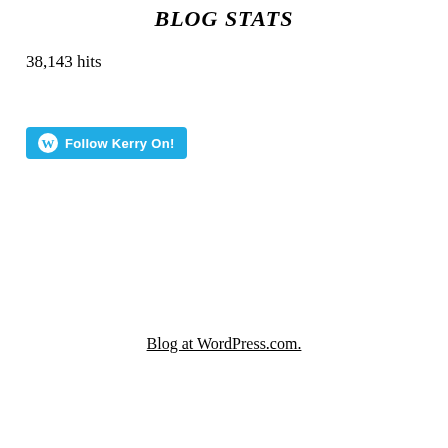BLOG STATS
38,143 hits
[Figure (other): Follow Kerry On! button with WordPress logo, cyan/blue background]
Blog at WordPress.com.